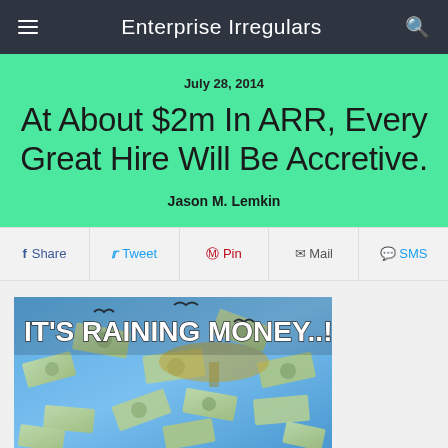Enterprise Irregulars
July 28, 2014
At About $2m In ARR, Every Great Hire Will Be Accretive.
Jason M. Lemkin
Share
Tweet
Pin
Mail
SMS
[Figure (photo): Meme image with text 'IT'S RAINING MONEY..!' and illustrated dollar bills raining down against a blue sky background.]